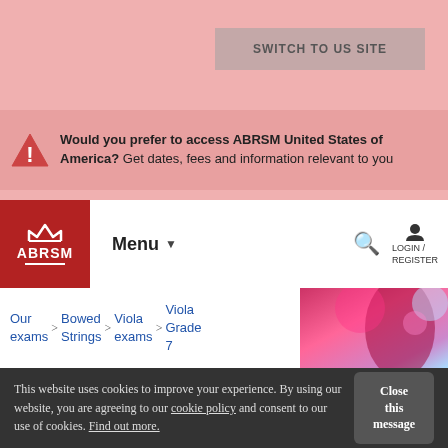[Figure (screenshot): ABRSM website screenshot showing pink banner with 'SWITCH TO US SITE' button, warning banner about ABRSM United States of America, navigation bar with ABRSM logo and menu, breadcrumb navigation, and cookie consent footer]
SWITCH TO US SITE
Would you prefer to access ABRSM United States of America? Get dates, fees and information relevant to you
Menu
LOGIN / REGISTER
Our exams > Bowed Strings > Viola exams > Viola Grade 7
This website uses cookies to improve your experience. By using our website, you are agreeing to our cookie policy and consent to our use of cookies. Find out more.
Close this message